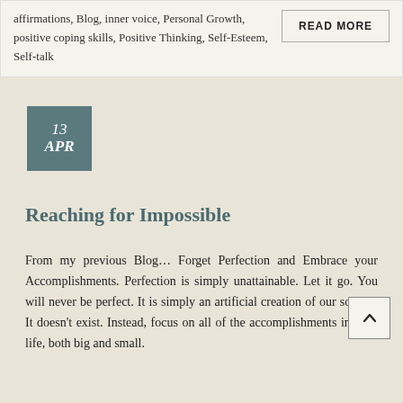affirmations, Blog, inner voice, Personal Growth, positive coping skills, Positive Thinking, Self-Esteem, Self-talk
READMORE
13 APR
Reaching for Impossible
From my previous Blog… Forget Perfection and Embrace your Accomplishments. Perfection is simply unattainable. Let it go. You will never be perfect. It is simply an artificial creation of our society. It doesn't exist. Instead, focus on all of the accomplishments in your life, both big and small.